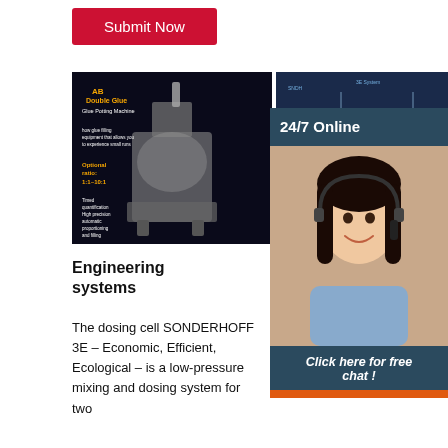[Figure (other): Red Submit Now button]
[Figure (photo): AB Double Glue Glue Potting Machine with optional ratio 1:1~10:1, industrial dispensing equipment]
[Figure (engineering-diagram): Blue technical diagram/schematic of industrial machinery]
[Figure (schematic): Technical diagram with color-coded components and annotations]
[Figure (photo): 24/7 Online customer service agent - woman with headset smiling]
Engineering systems
The dosing cell SONDERHOFF 3E – Economic, Efficient, Ecological – is a low-pressure mixing and dosing system for two
Polyurethanes
Versatile plastics for wide-ranging applications. With over 50 years of industry experience, our broad portfolio of isocyanates, polyols,
Flexible foam
Flexible polyurethane foam is formed in a reaction between polyol and toluene diisocyanate as key raw materials. This liquid reaction mix is poured onto a continuous laminator, resulting in a continuous
Click here for free chat !
QUOTATION